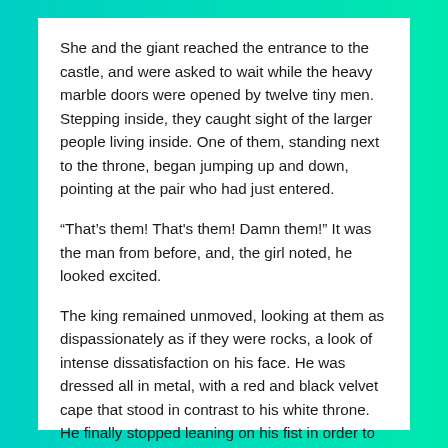She and the giant reached the entrance to the castle, and were asked to wait while the heavy marble doors were opened by twelve tiny men. Stepping inside, they caught sight of the larger people living inside. One of them, standing next to the throne, began jumping up and down, pointing at the pair who had just entered.
“That’s them! That's them! Damn them!” It was the man from before, and, the girl noted, he looked excited.
The king remained unmoved, looking at them as dispassionately as if they were rocks, a look of intense dissatisfaction on his face. He was dressed all in metal, with a red and black velvet cape that stood in contrast to his white throne. He finally stopped leaning on his fist in order to pick his nose.
“You there,” he said, flicking his booger then pointing to the men standing behind the giant and the girl, “close the doors.” He turned his attention to the giant.